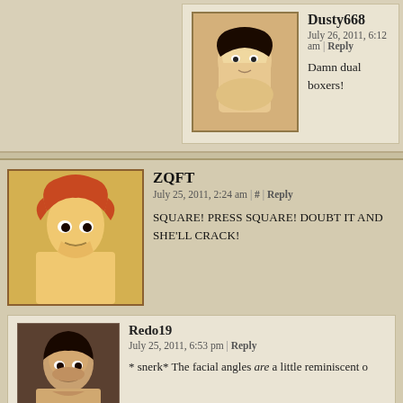Dusty668
July 26, 2011, 6:12 am | Reply
Damn dual boxers!
ZQFT
July 25, 2011, 2:24 am | # | Reply
SQUARE! PRESS SQUARE! DOUBT IT AND SHE'LL CRACK!
Redo19
July 25, 2011, 6:53 pm | Reply
* snerk* The facial angles are a little reminiscent o
Valdrax
July 25, 2011, 2:39 am | # | Reply
So, wait, seriously... what?
If Bandit is controlled by Daedalus (or his secretary, though I'm "Bandit" play along with the idea that respawning is unusual? ...O legitimately can't respawn normally?